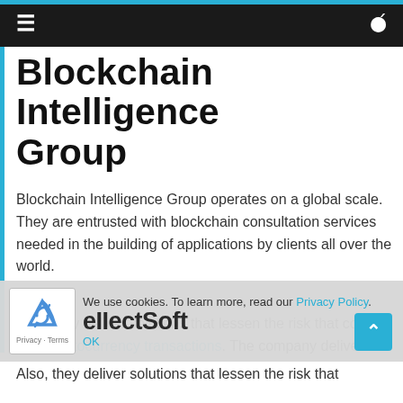≡  🔍
Blockchain Intelligence Group
Blockchain Intelligence Group operates on a global scale. They are entrusted with blockchain consultation services needed in the building of applications by clients all over the world.
Also, they deliver solutions that lessen the risk that come with cryptocurrency transactions. The company delivers on time, and the services they offer are on top of the game.
We use cookies. To learn more, read our Privacy Policy. OK
eIIectSoft